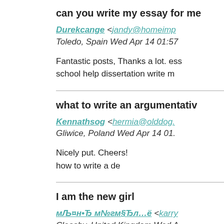can you write my essay for me
Durekcange <jandy@homeimp... Toledo, Spain Wed Apr 14 01:57...
Fantastic posts, Thanks a lot. ess... school help dissertation write m...
what to write an argumentativ...
Kennathsog <hermia@olddog.... Gliwice, Poland Wed Apr 14 01....
Nicely put. Cheers!
how to write a de
I am the new girl
мЉ¤н•Ђ м№гм§Ђл…ë <karry... Cleasby, United Kingdom Wed A...